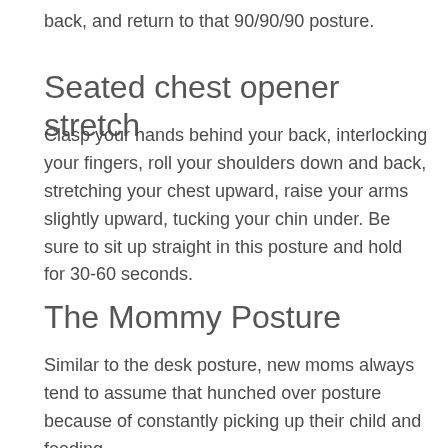back, and return to that 90/90/90 posture.
Seated chest opener stretch
Clasp your hands behind your back, interlocking your fingers, roll your shoulders down and back, stretching your chest upward, raise your arms slightly upward, tucking your chin under. Be sure to sit up straight in this posture and hold for 30-60 seconds.
The Mommy Posture
Similar to the desk posture, new moms always tend to assume that hunched over posture because of constantly picking up their child and feeding.